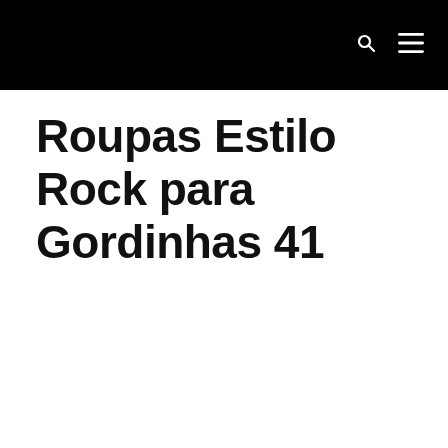Roupas Estilo Rock para Gordinhas 41